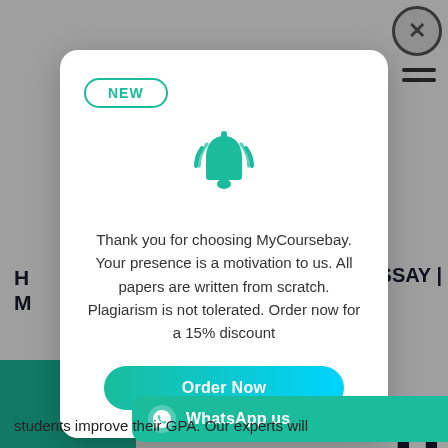[Figure (screenshot): Website navigation background with hamburger menu and close button, partially visible behind modal overlay]
[Figure (infographic): Popup modal notification with NEW badge, teal bell icon, promotional message, and Order Now button]
NEW
Thank you for choosing MyCoursebay. Your presence is a motivation to us. All papers are written from scratch. Plagiarism is not tolerated. Order now for a 15% discount
Order Now
WhatsApp us
students improve their GPA. Our experts will